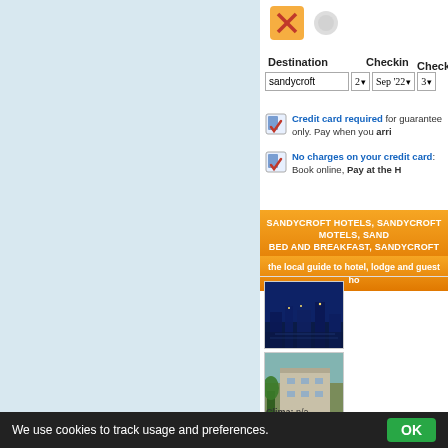Destination  Checkin  Checkout
sandycroft  2  Sep '22  3
Credit card required for guarantee only. Pay when you arrive
No charges on your credit card: Book online, Pay at the Hotel
SANDYCROFT HOTELS, SANDYCROFT MOTELS, SANDYCROFT BED and BREAKFAST, SANDYCROFT ROOMS
the local guide to hotel, lodge and guest house
Info: the local guide to hotel, lodge and guest house in Sandycroft, United Kingdom:
Hotel ★★☆☆☆
Dollars - Euro: ...
Tel:Fax: ...
TV - HiFi: n/a
Clima: n/a
We use cookies to track usage and preferences.  OK